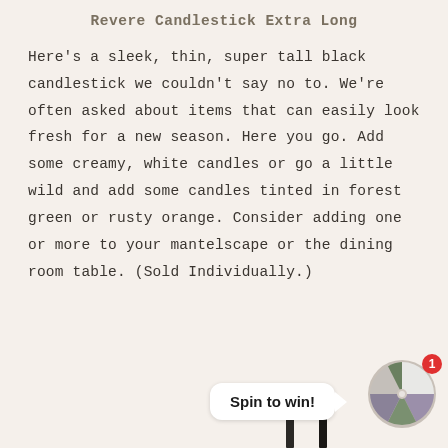Revere Candlestick Extra Long
Here's a sleek, thin, super tall black candlestick we couldn't say no to. We're often asked about items that can easily look fresh for a new season. Here you go. Add some creamy, white candles or go a little wild and add some candles tinted in forest green or rusty orange. Consider adding one or more to your mantelscape or the dining room table. (Sold Individually.)
[Figure (illustration): A 'Spin to win!' promotional widget with a speech bubble tooltip and a colorful spinning wheel with segments in purple, green, grey, and white. A red badge showing '1' appears at the top right of the wheel. Partially visible dark candlestick bases appear at the bottom.]